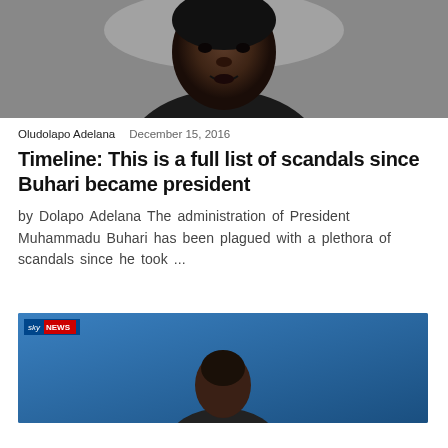[Figure (photo): Close-up photograph of President Muhammadu Buhari, a dark-skinned man in a dark traditional Nigerian outfit with white collar, mouth slightly open, against a light background]
Oludolapo Adelana  December 15, 2016
Timeline: This is a full list of scandals since Buhari became president
by Dolapo Adelana The administration of President Muhammadu Buhari has been plagued with a plethora of scandals since he took ...
[Figure (screenshot): Sky News television screenshot showing a person against a blue background, with Sky News logo badge in top-left corner]